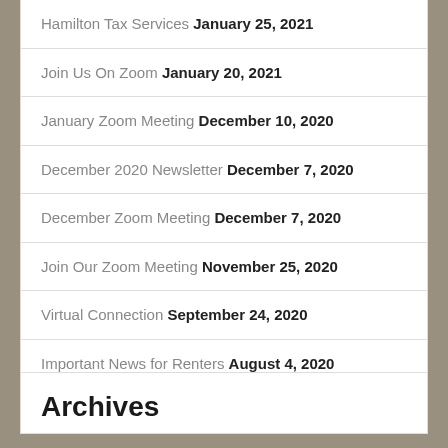Hamilton Tax Services January 25, 2021
Join Us On Zoom January 20, 2021
January Zoom Meeting December 10, 2020
December 2020 Newsletter December 7, 2020
December Zoom Meeting December 7, 2020
Join Our Zoom Meeting November 25, 2020
Virtual Connection September 24, 2020
Important News for Renters August 4, 2020
Archives